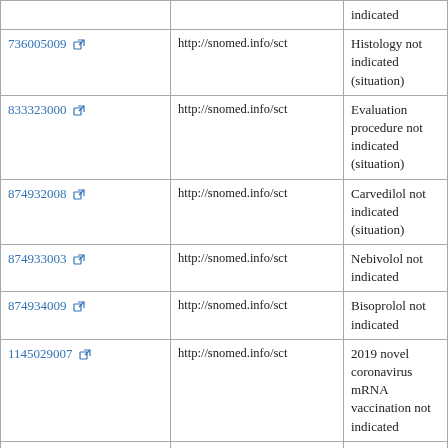| Code | System | Display |
| --- | --- | --- |
| 736005009 [ext] | http://snomed.info/sct | Histology not indicated (situation) |
| 833323000 [ext] | http://snomed.info/sct | Evaluation procedure not indicated (situation) |
| 874932008 [ext] | http://snomed.info/sct | Carvedilol not indicated (situation) |
| 874933003 [ext] | http://snomed.info/sct | Nebivolol not indicated |
| 874934009 [ext] | http://snomed.info/sct | Bisoprolol not indicated |
| 1145029007 [ext] | http://snomed.info/sct | 2019 novel coronavirus mRNA vaccination not indicated |
| 1145030002 [ext] | http://snomed.info/sct | Severe acute respiratory syndrome coronavirus 2 antigen vaccination not indicated (situation) |
| 1156267002 [ext] | http://snomed.info/sct | Severe acute respiratory syndrome coronavirus 2 vaccination not indicated |
| 71911000119106 [ext] | http://snomed.info/sct | No vaginal PAP smear required due to history of hysterectomy |
| 416064006 [ext] | http://snomed.info/sct | Procedure not offered |